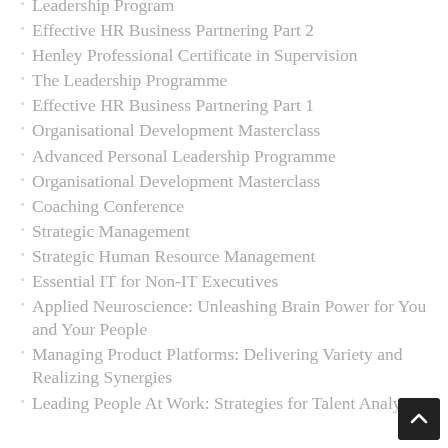Leadership Program
Effective HR Business Partnering Part 2
Henley Professional Certificate in Supervision
The Leadership Programme
Effective HR Business Partnering Part 1
Organisational Development Masterclass
Advanced Personal Leadership Programme
Organisational Development Masterclass
Coaching Conference
Strategic Management
Strategic Human Resource Management
Essential IT for Non-IT Executives
Applied Neuroscience: Unleashing Brain Power for You and Your People
Managing Product Platforms: Delivering Variety and Realizing Synergies
Leading People At Work: Strategies for Talent Analytics